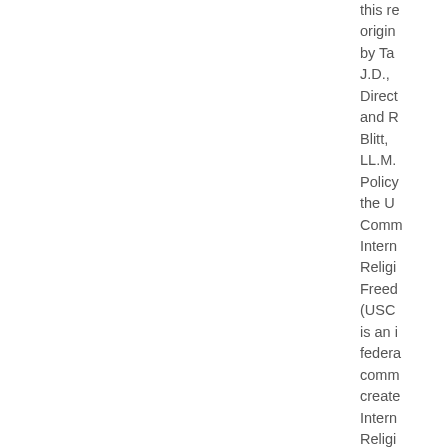this report was originally authored by Tad Stahnke, J.D., M.A., Director and Robert Blitt, M.A., LL.M., Senior Policy Analyst at the United States Commission on International Religious Freedom (USCIRF). USCIRF is an independent federal government commission created by the International Religious Freedom Act of 1998 (IRFA), the statute